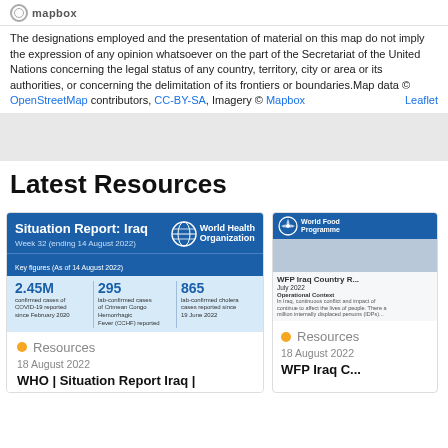[Figure (logo): Mapbox circle logo with text 'mapbox']
The designations employed and the presentation of material on this map do not imply the expression of any opinion whatsoever on the part of the Secretariat of the United Nations concerning the legal status of any country, territory, city or area or its authorities, or concerning the delimitation of its frontiers or boundaries.Map data © OpenStreetMap contributors, CC-BY-SA, Imagery © Mapbox    Leaflet
Latest Resources
[Figure (screenshot): WHO Situation Report Iraq card showing 2.45M COVID-19 cases, 295 Crimean Congo Hemorrhagic Fever cases, 865 cholera cases]
Resources
18 August 2022
WHO | Situation Report Iraq |
[Figure (screenshot): WFP Iraq Country report July 2022 card]
Resources
18 August 2022
WFP Iraq C...